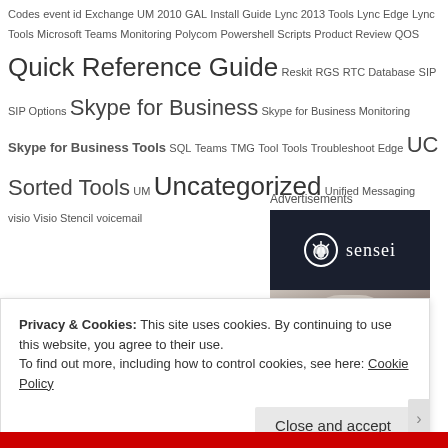Codes  event id  Exchange UM 2010  GAL  Install Guide  Lync 2013 Tools  Lync Edge  Lync Tools  Microsoft Teams  Monitoring  Polycom  Powershell Scripts  Product Review  QOS  Quick Reference Guide  Reskit  RGS  RTC Database  SIP  SIP Options  Skype for Business  Skype for Business Monitoring  Skype for Business Tools  SQL  Teams  TMG  Tool  Tools  Troubleshoot Edge  UC Sorted Tools  UM  Uncategorized  Unified Messaging  visio  Visio Stencil  voicemail
Advertisements
[Figure (photo): Sensei advertisement banner with dark navy top section showing sensei logo (circle with tree icon and 'sensei' text) and a grayscale photo of a person below]
Privacy & Cookies: This site uses cookies. By continuing to use this website, you agree to their use.
To find out more, including how to control cookies, see here: Cookie Policy
Close and accept